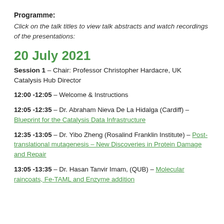Programme:
Click on the talk titles to view talk abstracts and watch recordings of the presentations:
20 July 2021
Session 1 – Chair: Professor Christopher Hardacre, UK Catalysis Hub Director
12:00 -12:05 – Welcome & Instructions
12:05 -12:35 – Dr. Abraham Nieva De La Hidalga (Cardiff) – Blueprint for the Catalysis Data Infrastructure
12:35 -13:05 – Dr. Yibo Zheng (Rosalind Franklin Institute) – Post-translational mutagenesis – New Discoveries in Protein Damage and Repair
13:05 -13:35 – Dr. Hasan Tanvir Imam, (QUB) – Molecular raincoats, Fe-TAML and Enzyme addition